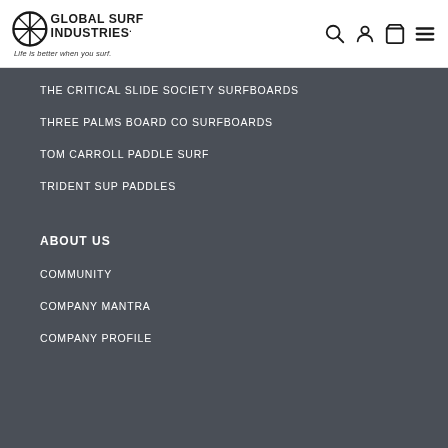Global Surf Industries — Life is better when you surf.
THE CRITICAL SLIDE SOCIETY SURFBOARDS
THREE PALMS BOARD CO SURFBOARDS
TOM CARROLL PADDLE SURF
TRIDENT SUP PADDLES
ABOUT US
COMMUNITY
COMPANY MANTRA
COMPANY PROFILE